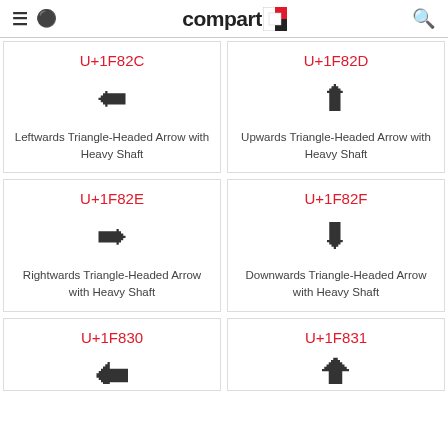compart
U+1F82C — Leftwards Triangle-Headed Arrow with Heavy Shaft
U+1F82D — Upwards Triangle-Headed Arrow with Heavy Shaft
U+1F82E — Rightwards Triangle-Headed Arrow with Heavy Shaft
U+1F82F — Downwards Triangle-Headed Arrow with Heavy Shaft
U+1F830
U+1F831